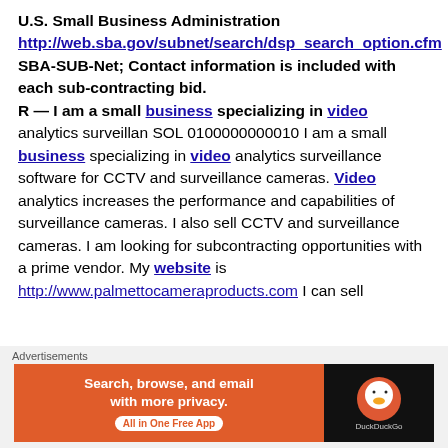U.S. Small Business Administration http://web.sba.gov/subnet/search/dsp_search_option.cfm SBA-SUB-Net; Contact information is included with each sub-contracting bid. R — I am a small business specializing in video analytics surveillan SOL 0100000000010 I am a small business specializing in video analytics surveillance software for CCTV and surveillance cameras. Video analytics increases the performance and capabilities of surveillance cameras. I also sell CCTV and surveillance cameras. I am looking for subcontracting opportunities with a prime vendor. My website is http://www.palmettocameraproducts.com I can sell
[Figure (other): DuckDuckGo advertisement banner: orange left panel with text 'Search, browse, and email with more privacy. All in One Free App' and dark right panel with DuckDuckGo logo]